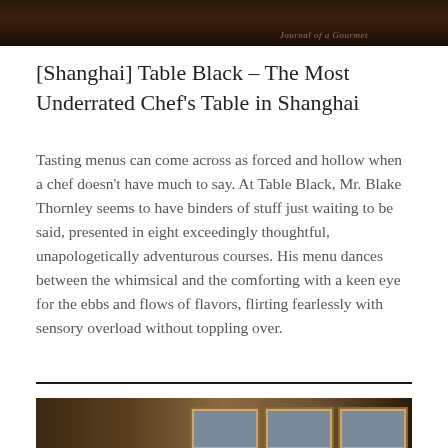[Figure (photo): Top portion of a dark restaurant interior photo, partially cropped, with faint italic text overlay visible at bottom right]
[Shanghai] Table Black – The Most Underrated Chef's Table in Shanghai
Tasting menus can come across as forced and hollow when a chef doesn't have much to say. At Table Black, Mr. Blake Thornley seems to have binders of stuff just waiting to be said, presented in eight exceedingly thoughtful, unapologetically adventurous courses. His menu dances between the whimsical and the comforting with a keen eye for the ebbs and flows of flavors, flirting fearlessly with sensory overload without toppling over.
[Figure (photo): Bottom portion of restaurant interior showing framed pictures hanging on walls, partially cropped, dark warm-toned lighting]